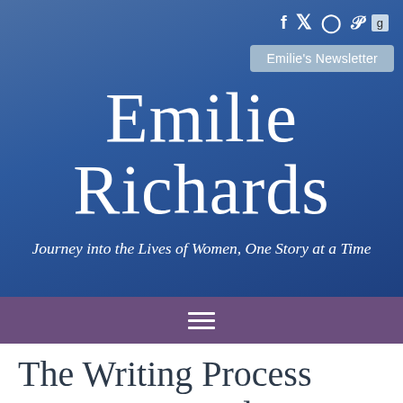f  t  [instagram]  p  g  | Emilie's Newsletter
Emilie Richards
Journey into the Lives of Women, One Story at a Time
≡
The Writing Process 2015: Letting Ideas Simmer